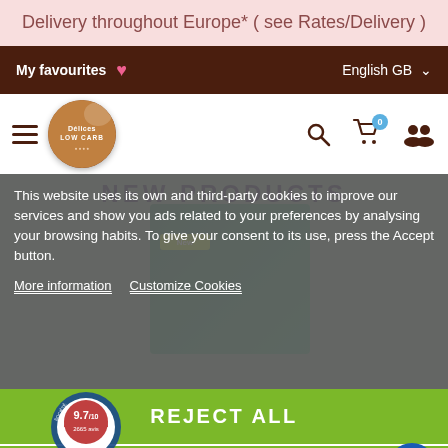Delivery throughout Europe* ( see Rates/Delivery )
My favourites
English GB
[Figure (logo): Delices Low Carb circular logo with chocolate cookie bite]
NEW PRODUCTS
This website uses its own and third-party cookies to improve our services and show you ads related to your preferences by analysing your browsing habits. To give your consent to its use, press the Accept button.
More information   Customize Cookies
REJECT ALL
[Figure (other): Société des Avis Garantis badge showing 9.7/10 rating from 2665 reviews]
I AGREE
TELEPHONE   EMAIL